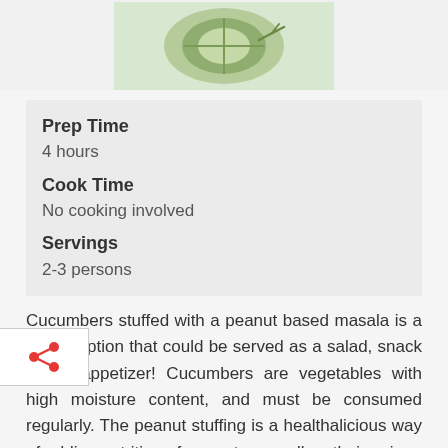[Figure (photo): Photo of sliced/rolled cucumber pieces, top-cropped view on white background]
Prep Time
4 hours
Cook Time
No cooking involved
Servings
2-3 persons
Cucumbers stuffed with a peanut based masala is a handy option that could be served as a salad, snack or an appetizer! Cucumbers are vegetables with high moisture content, and must be consumed regularly. The peanut stuffing is a healthalicious way of adding nutrition of peanuts as well as their unique taste and texture. Kids love these!
With some planning in advance, you could have your peanut masala prepared beforehand and pronto stuff tomatoes and cucumbers to be served for a